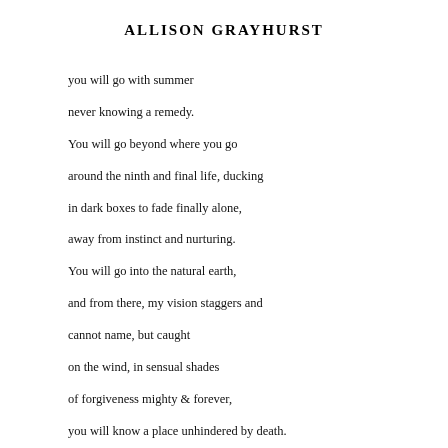ALLISON GRAYHURST
you will go with summer
never knowing a remedy.
You will go beyond where you go
around the ninth and final life, ducking
in dark boxes to fade finally alone,
away from instinct and nurturing.
You will go into the natural earth,
and from there, my vision staggers and
cannot name, but caught
on the wind, in sensual shades
of forgiveness mighty & forever,
you will know a place unhindered by death.
You will hear the secret
your pale eyes
have always harboured.